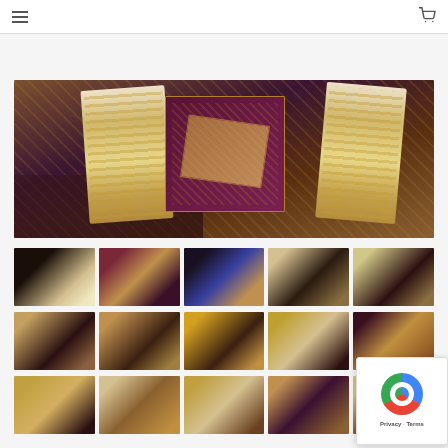[Figure (screenshot): E-commerce product page showing decorative playing card boxes with navigation arrows, a main product image of ornate card boxes with gold decoration on fabric, and a grid of thumbnail images below.]
[Figure (other): reCAPTCHA widget overlay in the bottom right corner showing Google reCAPTCHA logo with Privacy and Terms links.]